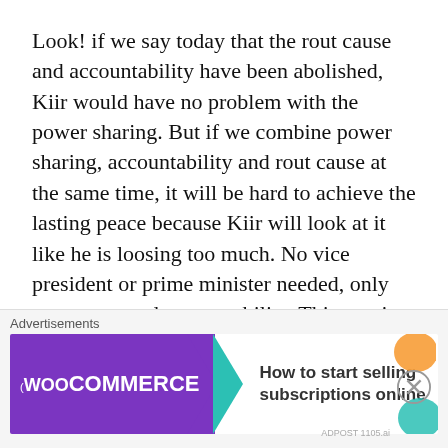Look! if we say today that the rout cause and accountability have been abolished, Kiir would have no problem with the power sharing. But if we combine power sharing, accountability and rout cause at the same time, it will be hard to achieve the lasting peace because Kiir will look at it like he is loosing too much. No vice president or prime minister needed, only rout cause and accountability. This war is not about the power sharing, it's about tribal behavior of Kiir against the rest of South Sudan people. In the next future,we will never except any president to kill South Sudanese in ethnic
[Figure (other): Advertisement banner for WooCommerce showing 'How to start selling subscriptions online' with purple background on left and white on right with decorative orange and teal blobs]